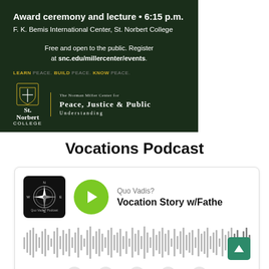[Figure (infographic): Dark green banner for St. Norbert College Norman Miller Center event. Text reads: Award ceremony and lecture · 6:15 p.m. / F. K. Bemis International Center, St. Norbert College / Free and open to the public. Register at snc.edu/millercenter/events. / LEARN PEACE. BUILD PEACE. KNOW PEACE. / St. Norbert College logo and The Norman Miller Center for Peace, Justice & Public Understanding logo.]
Vocations Podcast
[Figure (screenshot): Podcast player card showing Quo Vadis? podcast episode titled 'Vocation Story w/Fathe...' with a green play button, podcast thumbnail with compass rose, audio waveform bars, a teal scroll-to-top button, and playback controls at the bottom.]